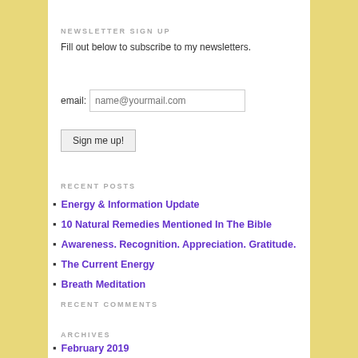NEWSLETTER SIGN UP
Fill out below to subscribe to my newsletters.
email: name@yourmail.com
Sign me up!
RECENT POSTS
Energy & Information Update
10 Natural Remedies Mentioned In The Bible
Awareness. Recognition. Appreciation. Gratitude.
The Current Energy
Breath Meditation
RECENT COMMENTS
ARCHIVES
February 2019
May 2017